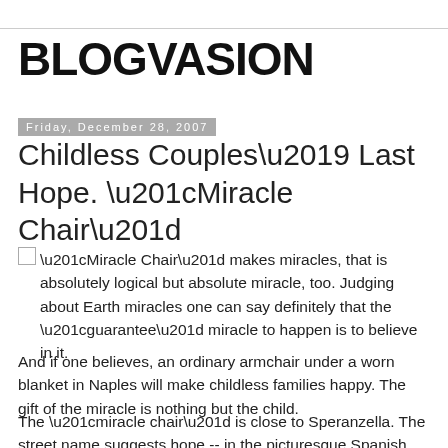BLOGVASION
Friday, December 28, 2007
Childless Couples’ Last Hope. “Miracle Chair”
“Miracle Chair” makes miracles, that is absolutely logical but absolute miracle, too. Judging about Earth miracles one can say definitely that the “guarantee” miracle to happen is to believe in it.
And if one believes, an ordinary armchair under a worn blanket in Naples will make childless families happy. The gift of the miracle is nothing but the child.
The “miracle chair” is close to Speranzella. The street name suggests hope -- in the picturesque Spanish Quarter of Naples. And at this place Saint Mary Frances of the Five